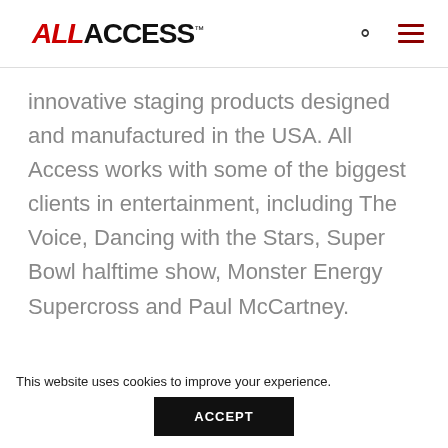ALL ACCESS™
innovative staging products designed and manufactured in the USA. All Access works with some of the biggest clients in entertainment, including The Voice, Dancing with the Stars, Super Bowl halftime show, Monster Energy Supercross and Paul McCartney.
This website uses cookies to improve your experience.
ACCEPT